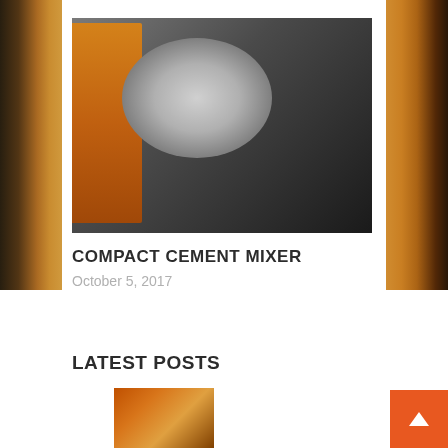[Figure (photo): Compact cement mixer truck photographed outdoors. A large white cylindrical tank with a blue and black diesel engine mounted on it is visible. An orange construction vehicle is partially visible on the left. A concrete block wall is in the background.]
COMPACT CEMENT MIXER
October 5, 2017
LATEST POSTS
[Figure (photo): Thumbnail image of a latest post — appears to show construction materials or equipment in orange/brown tones.]